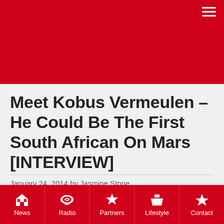Meet Kobus Vermeulen – He Could Be The First South African On Mars [INTERVIEW]
January 24, 2014 by Jasmine Stone
[Figure (photo): Partial view of the surface of Mars, orange-brown rocky terrain]
News  Radio  Partners  Lifestyle  Contact